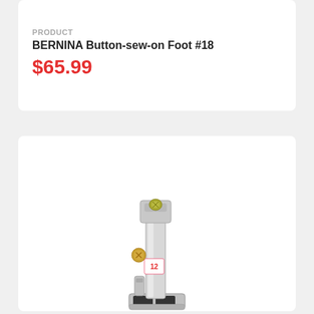PRODUCT
BERNINA Button-sew-on Foot #18
$65.99
[Figure (photo): Photo of a BERNINA Bulky Overlock Foot #12 sewing machine presser foot, silver/chrome metal construction with a label showing '12']
PRODUCT
BERNINA Bulky Overlock Foot #12
$45.99